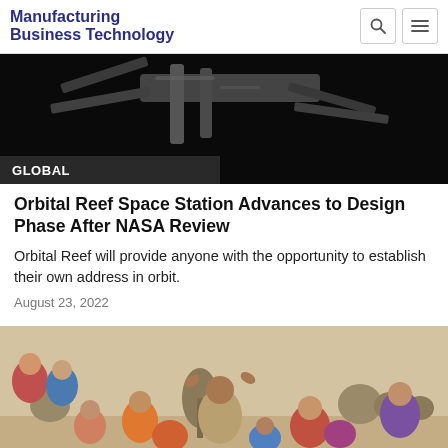Manufacturing Business Technology
[Figure (photo): Space station hardware on dark background, partial view from top]
GLOBAL
Orbital Reef Space Station Advances to Design Phase After NASA Review
Orbital Reef will provide anyone with the opportunity to establish their own address in orbit.
August 23, 2022
[Figure (photo): Crowd of people outdoors in an arid landscape, man in center with hands raised, women in colorful robes surrounding him]